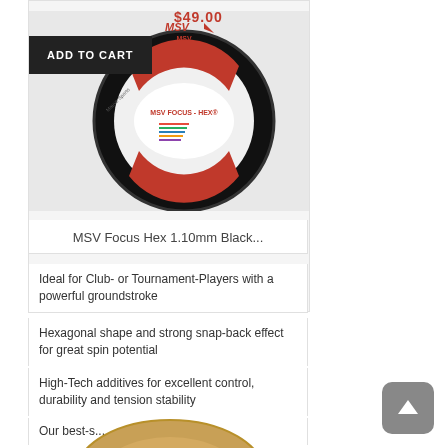[Figure (photo): MSV Focus Hex 1.10mm Black tennis string reel product photo with red/white label showing MSV logo, price $49.00 badge, and Add to Cart button overlay]
MSV Focus Hex 1.10mm Black...
Ideal for Club- or Tournament-Players with a powerful groundstroke
Hexagonal shape and strong snap-back effect for great spin potential
High-Tech additives for excellent control, durability and tension stability
Our best-s...
[Figure (photo): Gold/natural colored tennis string reel (IGNUM PRO) partially visible at bottom of page]